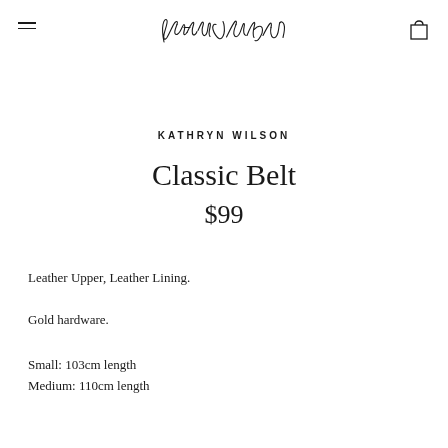Kathryn Wilson [logo]
KATHRYN WILSON
Classic Belt
$99
Leather Upper, Leather Lining.
Gold hardware.
Small: 103cm length
Medium: 110cm length